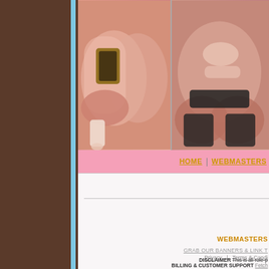[Figure (photo): Adult content website screenshot showing two photos side by side with pink navigation bar, HOME and WEBMASTERS links, and footer with disclaimer text]
HOME | WEBMASTERS
WEBMASTERS
GRAB OUR BANNERS & LINK T
Privacy | Terms & Condi
DISCLAIMER  This is all role-p
BILLING & CUSTOMER SUPPORT  Fetch
Epoch.com and Segpay.com are t
7 N